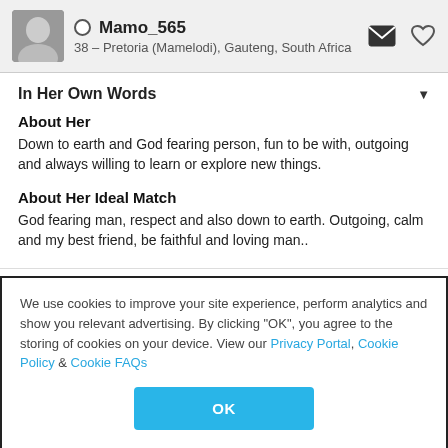Mamo_565 — 38 – Pretoria (Mamelodi), Gauteng, South Africa
In Her Own Words
About Her
Down to earth and God fearing person, fun to be with, outgoing and always willing to learn or explore new things.
About Her Ideal Match
God fearing man, respect and also down to earth. Outgoing, calm and my best friend, be faithful and loving man..
We use cookies to improve your site experience, perform analytics and show you relevant advertising. By clicking "OK", you agree to the storing of cookies on your device. View our Privacy Portal, Cookie Policy & Cookie FAQs